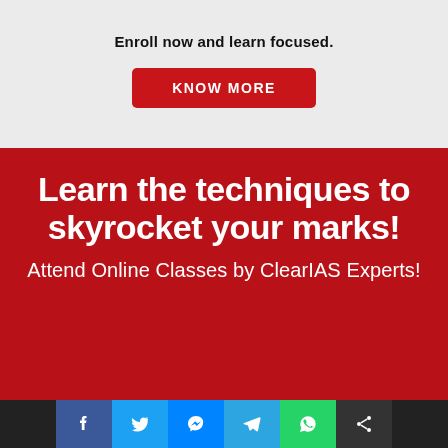Enroll now and learn focused.
KNOW MORE
Learn the techniques to skyrocket your marks!
Attend Online Classes by ClearIAS Experts!
[Figure (infographic): Social share bar with Facebook, Twitter, Messenger, Telegram, WhatsApp, and Share buttons]